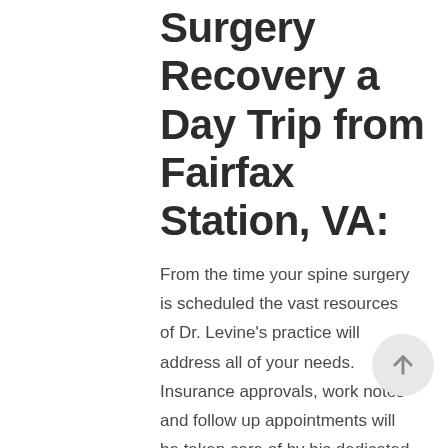Surgery Recovery a Day Trip from Fairfax Station, VA:
From the time your spine surgery is scheduled the vast resources of Dr. Levine's practice will address all of your needs. Insurance approvals, work notes and follow up appointments will be taken care of by his dedicated team before your day of surgery. You will be educated on safe post-operative medications and activities to make your recovery safe and comfortable. Any pre-operative testing required prior to surgery will be scheduled by our surgical planners. If you would like, we can even introduce you to the nursing team that will follow you after surgery who are only steps away from Dr. Levine's